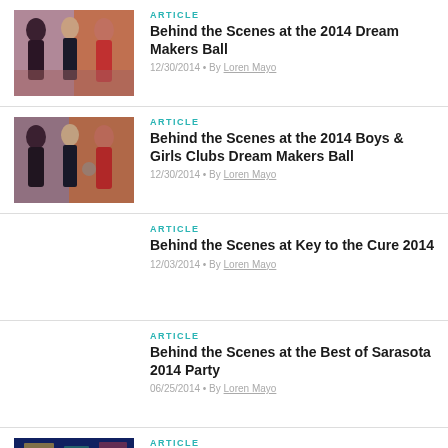[Figure (photo): Three people posing at gala event - two women and a man]
ARTICLE
Behind the Scenes at the 2014 Dream Makers Ball
12/30/2014 • By Loren Mayo
[Figure (photo): Three people posing at gala event - two women and a man]
ARTICLE
Behind the Scenes at the 2014 Boys & Girls Clubs Dream Makers Ball
12/30/2014 • By Loren Mayo
ARTICLE
Behind the Scenes at Key to the Cure 2014
12/03/2014 • By Loren Mayo
ARTICLE
Behind the Scenes at the Best of Sarasota 2014 Party
06/25/2014 • By Loren Mayo
[Figure (photo): Colorful party scene with people at Sarasota Film Festival]
ARTICLE
Party Girl: Behind the Scenes at Sarasota Film Festival's Cinema Tropicale